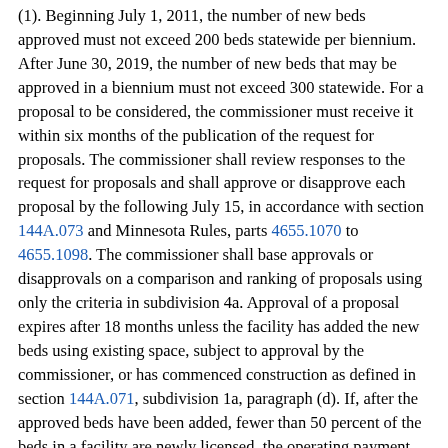(1). Beginning July 1, 2011, the number of new beds approved must not exceed 200 beds statewide per biennium. After June 30, 2019, the number of new beds that may be approved in a biennium must not exceed 300 statewide. For a proposal to be considered, the commissioner must receive it within six months of the publication of the request for proposals. The commissioner shall review responses to the request for proposals and shall approve or disapprove each proposal by the following July 15, in accordance with section 144A.073 and Minnesota Rules, parts 4655.1070 to 4655.1098. The commissioner shall base approvals or disapprovals on a comparison and ranking of proposals using only the criteria in subdivision 4a. Approval of a proposal expires after 18 months unless the facility has added the new beds using existing space, subject to approval by the commissioner, or has commenced construction as defined in section 144A.071, subdivision 1a, paragraph (d). If, after the approved beds have been added, fewer than 50 percent of the beds in a facility are newly licensed, the operating payment rates previously in effect shall remain. If, after the approved beds have been added, 50 percent or more of the beds in a facility are newly licensed, operating payment rates shall be determined according to Minnesota Rules, part 9549.0057